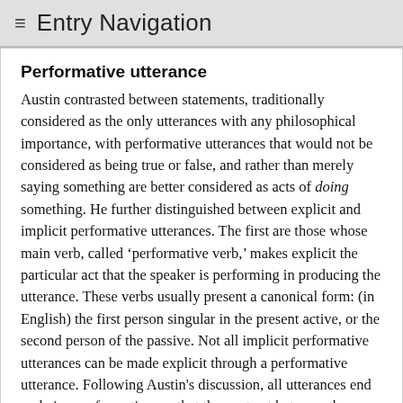≡ Entry Navigation
Performative utterance
Austin contrasted between statements, traditionally considered as the only utterances with any philosophical importance, with performative utterances that would not be considered as being true or false, and rather than merely saying something are better considered as acts of doing something. He further distinguished between explicit and implicit performative utterances. The first are those whose main verb, called 'performative verb,' makes explicit the particular act that the speaker is performing in producing the utterance. These verbs usually present a canonical form: (in English) the first person singular in the present active, or the second person of the passive. Not all implicit performative utterances can be made explicit through a performative utterance. Following Austin's discussion, all utterances end up being performative, so that the contrast between them and statements seems to make no sense any more. The concept of performative utterance was supplanted in the development of speech act theory by the concept of